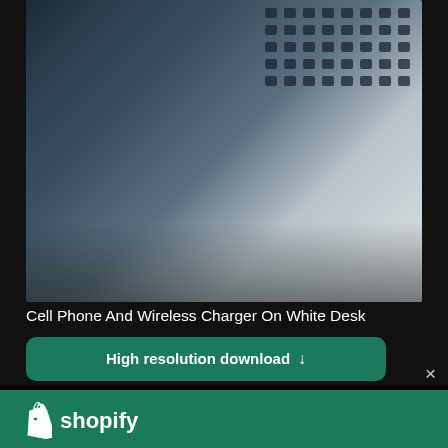[Figure (photo): Blurred photo of a cell phone and wireless charger on a white desk, showing a dark keyboard-like device against a light background]
Cell Phone And Wireless Charger On White Desk
High resolution download ↓
[Figure (logo): Shopify logo: shopping bag icon with letter S, followed by wordmark 'shopify' in white]
Need an online store for your business?
Start free trial